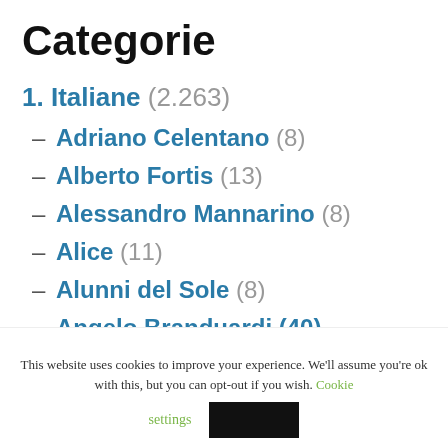Categorie
1. Italiane (2.263)
– Adriano Celentano (8)
– Alberto Fortis (13)
– Alessandro Mannarino (8)
– Alice (11)
– Alunni del Sole (8)
– Angelo Branduardi (40)
This website uses cookies to improve your experience. We'll assume you're ok with this, but you can opt-out if you wish. Cookie settings